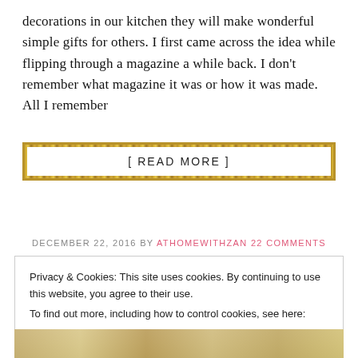decorations in our kitchen they will make wonderful simple gifts for others. I first came across the idea while flipping through a magazine a while back. I don't remember what magazine it was or how it was made. All I remember
[ READ MORE ]
DECEMBER 22, 2016 BY ATHOMEWITHZAN 22 COMMENTS
Privacy & Cookies: This site uses cookies. By continuing to use this website, you agree to their use.
To find out more, including how to control cookies, see here:
Cookie Policy
Close and accept